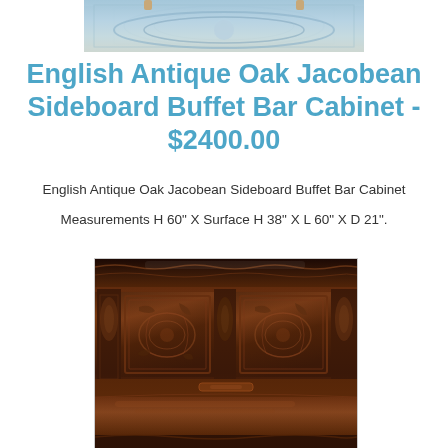[Figure (photo): Top portion of a decorative rug/carpet with ornate pattern, cropped view]
English Antique Oak Jacobean Sideboard Buffet Bar Cabinet - $2400.00
English Antique Oak Jacobean Sideboard Buffet Bar Cabinet
Measurements H 60" X Surface H 38" X L 60" X D 21".
[Figure (photo): Close-up photograph of an antique oak Jacobean sideboard buffet bar cabinet showing ornate carved wood panels, decorative columns, and carved floral/leaf motifs in dark mahogany-brown finish]